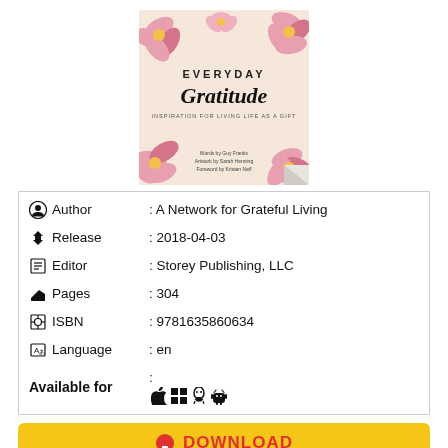[Figure (illustration): Book cover of 'Everyday Gratitude' with pink lotus flowers on a beige background]
| Author | : A Network for Grateful Living |
| Release | : 2018-04-03 |
| Editor | : Storey Publishing, LLC |
| Pages | : 304 |
| ISBN | : 9781635860634 |
| Language | : en |
| Available for | : [Apple, Windows, Linux, Android icons] |
DOWNLOAD